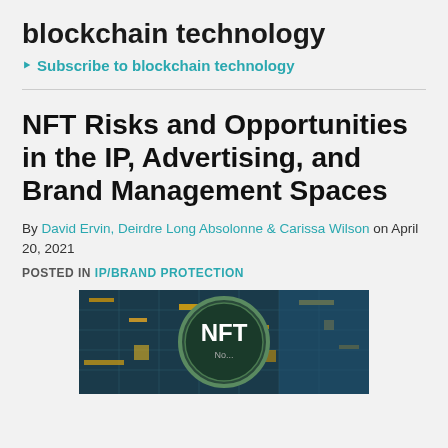blockchain technology
Subscribe to blockchain technology
NFT Risks and Opportunities in the IP, Advertising, and Brand Management Spaces
By David Ervin, Deirdre Long Absolonne & Carissa Wilson on April 20, 2021
POSTED IN IP/BRAND PROTECTION
[Figure (photo): Photo of a digital NFT token graphic with circuit board background and NFT text in the center]